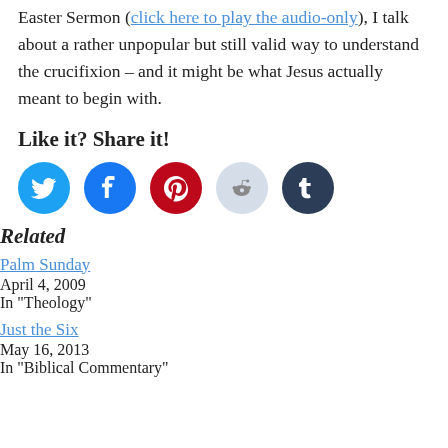Easter Sermon (click here to play the audio-only), I talk about a rather unpopular but still valid way to understand the crucifixion – and it might be what Jesus actually meant to begin with.
Like it? Share it!
[Figure (infographic): Five social share buttons: Twitter (blue), Facebook (dark blue), Pinterest (red), Reddit (light gray-blue), Tumblr (dark navy)]
Related
Palm Sunday
April 4, 2009
In "Theology"
Just the Six
May 16, 2013
In "Biblical Commentary"